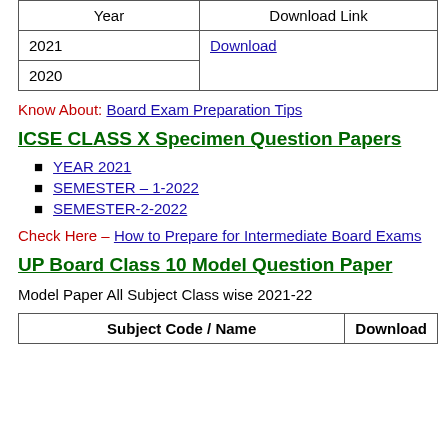| Year | Download Link |
| --- | --- |
| 2021 | Download |
| 2020 |  |
Know About: Board Exam Preparation Tips
ICSE CLASS X Specimen Question Papers
YEAR 2021
SEMESTER – 1-2022
SEMESTER-2-2022
Check Here – How to Prepare for Intermediate Board Exams
UP Board Class 10 Model Question Paper
Model Paper All Subject Class wise 2021-22
| Subject Code / Name | Download |
| --- | --- |